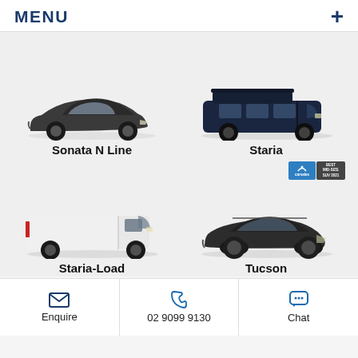MENU
[Figure (photo): Side profile of Hyundai Sonata N Line sedan in dark gray]
Sonata N Line
[Figure (photo): Side profile of Hyundai Staria van in dark navy blue]
Staria
[Figure (photo): Side profile of Hyundai Staria-Load cargo van in white]
Staria-Load
[Figure (photo): Side profile of Hyundai Tucson SUV in dark gray with award badge]
Tucson
Enquire | 02 9099 9130 | Chat